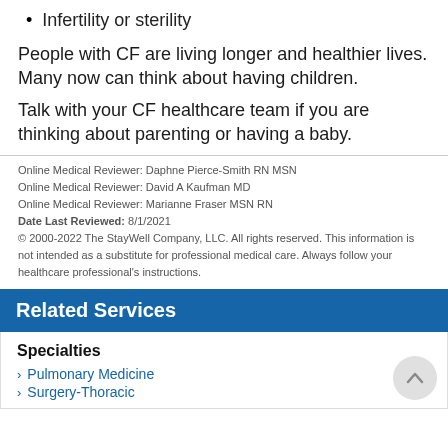Infertility or sterility
People with CF are living longer and healthier lives. Many now can think about having children.
Talk with your CF healthcare team if you are thinking about parenting or having a baby.
Online Medical Reviewer: Daphne Pierce-Smith RN MSN
Online Medical Reviewer: David A Kaufman MD
Online Medical Reviewer: Marianne Fraser MSN RN
Date Last Reviewed: 8/1/2021
© 2000-2022 The StayWell Company, LLC. All rights reserved. This information is not intended as a substitute for professional medical care. Always follow your healthcare professional's instructions.
Related Services
Specialties
Pulmonary Medicine
Surgery-Thoracic